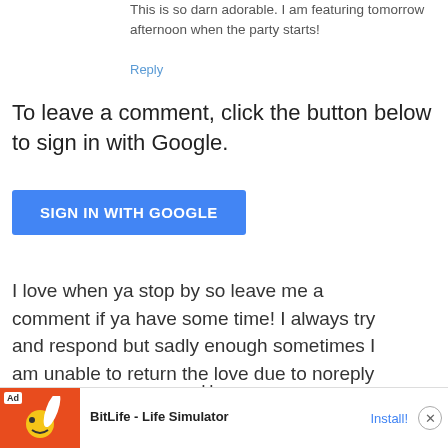This is so darn adorable. I am featuring tomorrow afternoon when the party starts!
Reply
To leave a comment, click the button below to sign in with Google.
SIGN IN WITH GOOGLE
I love when ya stop by so leave me a comment if ya have some time! I always try and respond but sadly enough sometimes I am unable to return the love due to noreply blogger status.
‹   Home   ›
View web version
[Figure (screenshot): Ad banner for BitLife - Life Simulator app with an Install button and close button]